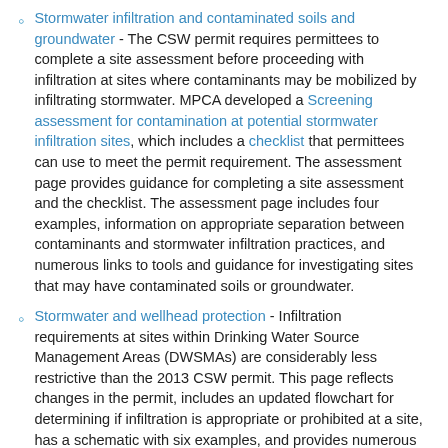Stormwater infiltration and contaminated soils and groundwater - The CSW permit requires permittees to complete a site assessment before proceeding with infiltration at sites where contaminants may be mobilized by infiltrating stormwater. MPCA developed a Screening assessment for contamination at potential stormwater infiltration sites, which includes a checklist that permittees can use to meet the permit requirement. The assessment page provides guidance for completing a site assessment and the checklist. The assessment page includes four examples, information on appropriate separation between contaminants and stormwater infiltration practices, and numerous links to tools and guidance for investigating sites that may have contaminated soils or groundwater.
Stormwater and wellhead protection - Infiltration requirements at sites within Drinking Water Source Management Areas (DWSMAs) are considerably less restrictive than the 2013 CSW permit. This page reflects changes in the permit, includes an updated flowchart for determining if infiltration is appropriate or prohibited at a site, has a schematic with six examples, and provides numerous links.